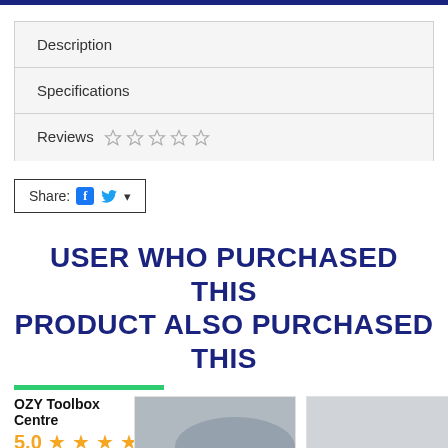Description
Specifications
Reviews ☆ ☆ ☆ ☆ ☆
Share:
USER WHO PURCHASED THIS PRODUCT ALSO PURCHASED THIS
OZY Toolbox Centre
5.0 ★★★★★